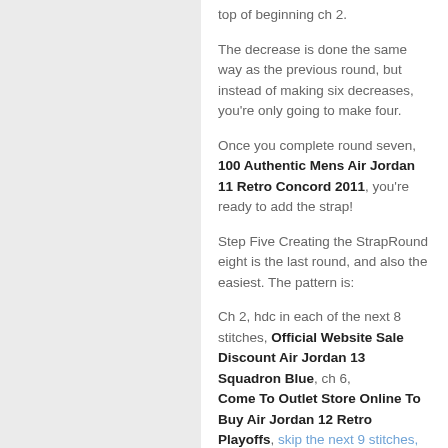top of beginning ch 2.
The decrease is done the same way as the previous round, but instead of making six decreases, you're only going to make four.
Once you complete round seven, 100 Authentic Mens Air Jordan 11 Retro Concord 2011, you're ready to add the strap!
Step Five Creating the StrapRound eight is the last round, and also the easiest. The pattern is:
Ch 2, hdc in each of the next 8 stitches, Official Website Sale Discount Air Jordan 13 Squadron Blue, ch 6, Come To Outlet Store Online To Buy Air Jordan 12 Retro Playoffs, skip the next 9 stitches, Shop 2014 Newest Style Air Jordan 13 He Got Game 2013, hdc in each of the